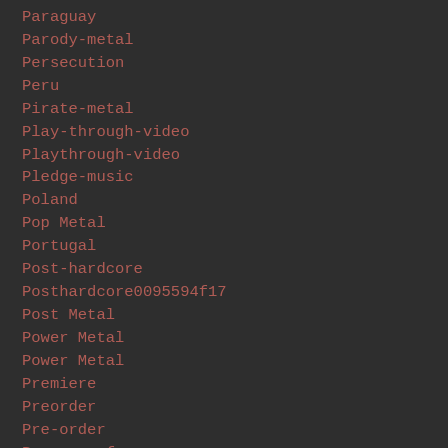Paraguay
Parody-metal
Persecution
Peru
Pirate-metal
Play-through-video
Playthrough-video
Pledge-music
Poland
Pop Metal
Portugal
Post-hardcore
Posthardcore0095594f17
Post Metal
Power Metal
Power Metal
Premiere
Preorder
Pre-order
Press-conference
Prog Metal